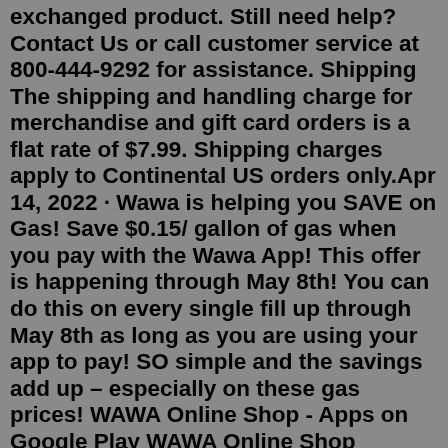exchanged product. Still need help? Contact Us or call customer service at 800-444-9292 for assistance. Shipping The shipping and handling charge for merchandise and gift card orders is a flat rate of $7.99. Shipping charges apply to Continental US orders only.Apr 14, 2022 · Wawa is helping you SAVE on Gas! Save $0.15/ gallon of gas when you pay with the Wawa App! This offer is happening through May 8th! You can do this on every single fill up through May 8th as long as you are using your app to pay! SO simple and the savings add up – especially on these gas prices! WAWA Online Shop - Apps on Google Play WAWA Online Shop TokoAplikasi.ID 3.8 star 593 reviews 10K+ Downloads Everyone info Install About this app arrow_forward WAWA Online Shop Jl Kilisuci 1/21...Download Wawa PC for free at BrowserCam. Wawa, Inc published Wawa for Android operating system mobile devices, but it is possible to download and install Wawa for PC or Computer with operating systems such as Windows 7, 8, 8.1, 10 and Mac. Let's find out the prerequisites to